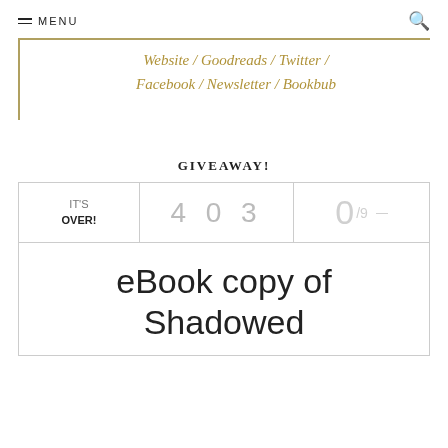≡ MENU   🔍
Website / Goodreads / Twitter / Facebook / Newsletter / Bookbub
GIVEAWAY!
IT'S OVER! 403 0/9 —
eBook copy of Shadowed